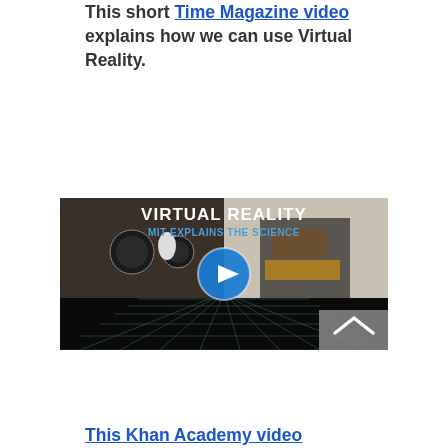This short Time Magazine video explains how we can use Virtual Reality.
[Figure (screenshot): Video thumbnail showing 'VIRTUAL REALITY MIT EXPLAINS THE SCIENCE' with a play button, cardboard VR headset and person using VR headset, with a grid floor background. Has a scroll-to-top arrow button in bottom right corner.]
This Khan Academy video